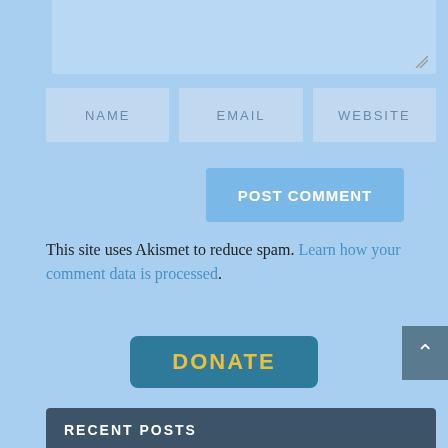[Figure (screenshot): Comment form textarea input area at the top of the page]
NAME
EMAIL
WEBSITE
POST COMMENT
This site uses Akismet to reduce spam. Learn how your comment data is processed.
DONATE
RECENT POSTS
The Film ‘Operation Mincemeat’: Chopped a Bit Too Finely, But Still Tasty